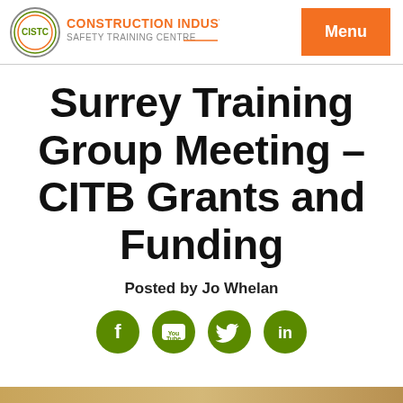[Figure (logo): CISTC Construction Industry Safety Training Centre logo with circular emblem and orange/green text]
Menu
Surrey Training Group Meeting – CITB Grants and Funding
Posted by Jo Whelan
[Figure (infographic): Four green circular social media icons: Facebook, YouTube, Twitter, LinkedIn]